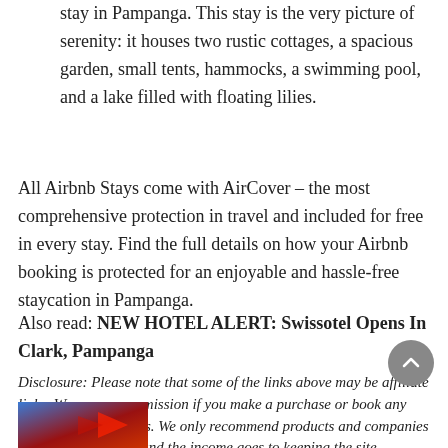stay in Pampanga. This stay is the very picture of serenity: it houses two rustic cottages, a spacious garden, small tents, hammocks, a swimming pool, and a lake filled with floating lilies.
All Airbnb Stays come with AirCover – the most comprehensive protection in travel and included for free in every stay. Find the full details on how your Airbnb booking is protected for an enjoyable and hassle-free staycation in Pampanga.
Also read: NEW HOTEL ALERT: Swissotel Opens In Clark, Pampanga
Disclosure: Please note that some of the links above may be affiliate links. We earn a commission if you make a purchase or book any travel related services. We only recommend products and companies that we actually use and the income goes to keeping the site supported and updated.
[Figure (photo): Thumbnail image at bottom left, partially visible, showing a scene with blue and red tones]